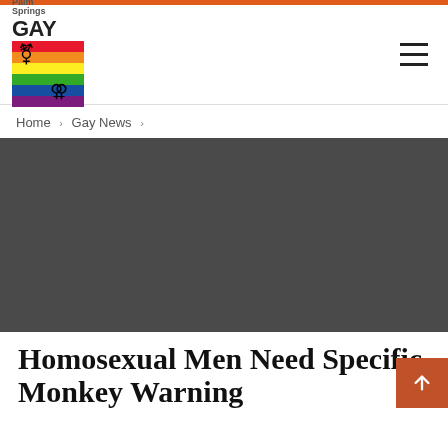Palm Springs GAY
Home > Gay News >
[Figure (photo): Dark gray placeholder hero image for article about monkeypox warning]
GAY NEWS
Homosexual Men Need Specific Monkey Warning